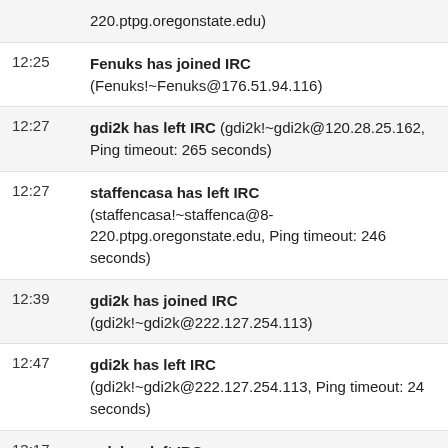220.ptpg.oregonstate.edu)
12:25 Fenuks has joined IRC (Fenuks!~Fenuks@176.51.94.116)
12:27 gdi2k has left IRC (gdi2k!~gdi2k@120.28.25.162, Ping timeout: 265 seconds)
12:27 staffencasa has left IRC (staffencasa!~staffenca@8-220.ptpg.oregonstate.edu, Ping timeout: 246 seconds)
12:39 gdi2k has joined IRC (gdi2k!~gdi2k@222.127.254.113)
12:47 gdi2k has left IRC (gdi2k!~gdi2k@222.127.254.113, Ping timeout: 24 seconds)
13:17 gek has left IRC (gek!5eb5b43c@gateway/web/freenode/ip.94.181.180.60, Quit: Page closed)
13:33 gdi2k has joined IRC (gdi2k!~gdi2k@222.127.254.113)
14:26 gdi2k has left IRC (gdi2k!~gdi2k@222.127.254.113, Ping timeout: 26 seconds)
14:38 gdi2k has joined IRC (gdi2k!~gdi2k@222.127.254.113)